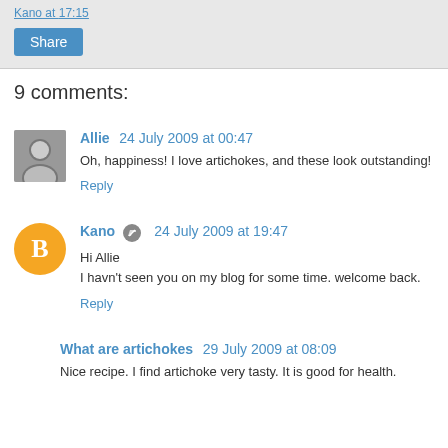Kano at 17:15
Share
9 comments:
Allie  24 July 2009 at 00:47
Oh, happiness! I love artichokes, and these look outstanding!
Reply
Kano  24 July 2009 at 19:47
Hi Allie
I havn't seen you on my blog for some time. welcome back.
Reply
What are artichokes  29 July 2009 at 08:09
Nice recipe. I find artichoke very tasty. It is good for health.